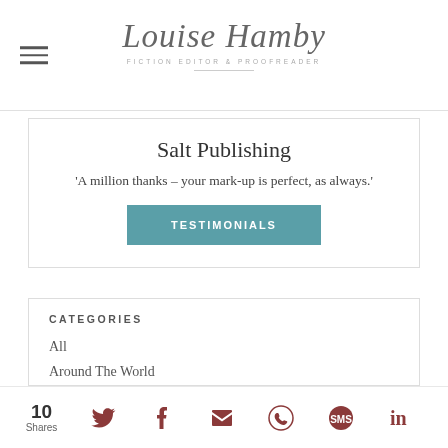Louise Hamby — Fiction Editor & Proofreader
Salt Publishing
'A million thanks – your mark-up is perfect, as always.'
TESTIMONIALS
CATEGORIES
All
Around The World
Audio Books
Author Chat
Author Interviews
Author Platform
10 Shares